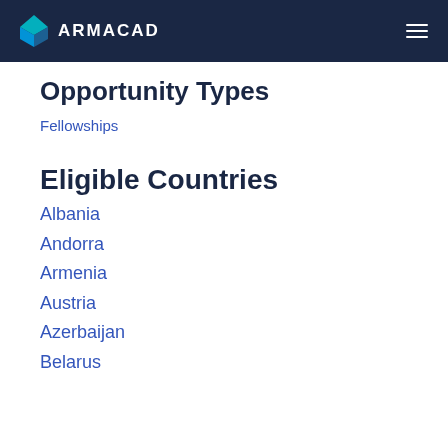ARMACAD
Opportunity Types
Fellowships
Eligible Countries
Albania
Andorra
Armenia
Austria
Azerbaijan
Belarus